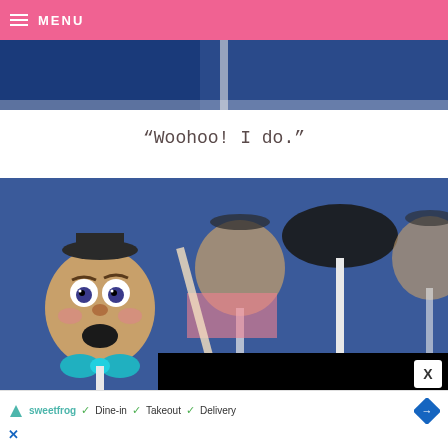≡ MENU
[Figure (photo): Top portion of a photo showing cake pops on blue background, partially visible at top of page]
“Woohoo! I do.”
[Figure (photo): Cake pops designed to look like Mr. Potato Head characters on a blue background, with a black video loading overlay on right side showing a spinning loader icon]
X
sweetfrog ✓ Dine-in ✓ Takeout ✓ Delivery